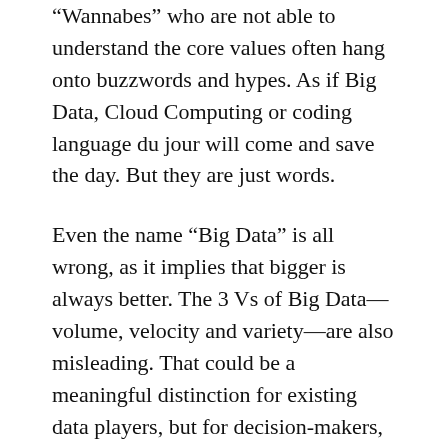“Wannabes” who are not able to understand the core values often hang onto buzzwords and hypes. As if Big Data, Cloud Computing or coding language du jour will come and save the day. But they are just words.
Even the name “Big Data” is all wrong, as it implies that bigger is always better. The 3 Vs of Big Data—volume, velocity and variety—are also misleading. That could be a meaningful distinction for existing data players, but for decision-makers, it gives a notion that size and speed are the ultimate quest. But for the users, small is better. They don’t have time to analyze big sets of data. They need small answers in fun size packages. Plus, why is big and fast new?